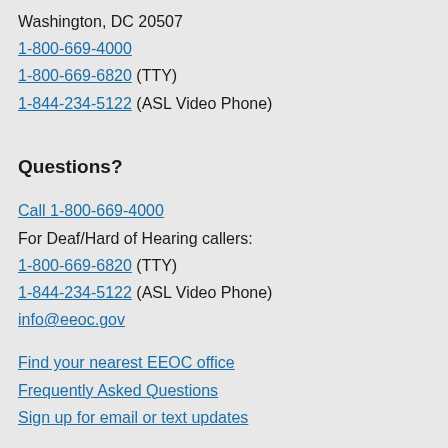Washington, DC 20507
1-800-669-4000
1-800-669-6820 (TTY)
1-844-234-5122 (ASL Video Phone)
Questions?
Call 1-800-669-4000
For Deaf/Hard of Hearing callers:
1-800-669-6820 (TTY)
1-844-234-5122 (ASL Video Phone)
info@eeoc.gov
Find your nearest EEOC office
Frequently Asked Questions
Sign up for email or text updates